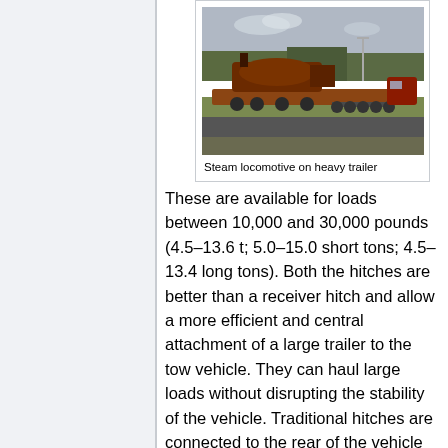[Figure (photo): Steam locomotive on a heavy trailer being transported on a road, with multiple axles visible under the low-bed trailer. Trees and road visible in background.]
Steam locomotive on heavy trailer
These are available for loads between 10,000 and 30,000 pounds (4.5–13.6 t; 5.0–15.0 short tons; 4.5–13.4 long tons). Both the hitches are better than a receiver hitch and allow a more efficient and central attachment of a large trailer to the tow vehicle. They can haul large loads without disrupting the stability of the vehicle. Traditional hitches are connected to the rear of the vehicle at the frame or bumper, while fifth wheel and gooseneck trailers are attached to